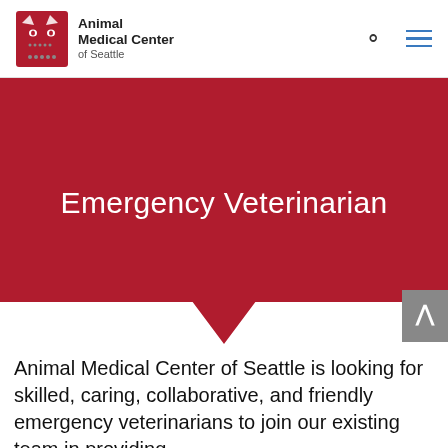[Figure (logo): Animal Medical Center of Seattle logo with red cat icon and text]
Emergency Veterinarian
Animal Medical Center of Seattle is looking for skilled, caring, collaborative, and friendly emergency veterinarians to join our existing team in providing